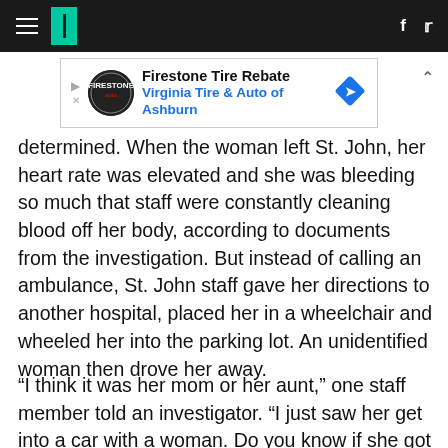HuffPost navigation bar with hamburger menu, logo, Facebook and Twitter icons
[Figure (other): Firestone Tire Rebate advertisement banner — Virginia Tire & Auto of Ashburn]
determined. When the woman left St. John, her heart rate was elevated and she was bleeding so much that staff were constantly cleaning blood off her body, according to documents from the investigation. But instead of calling an ambulance, St. John staff gave her directions to another hospital, placed her in a wheelchair and wheeled her into the parking lot. An unidentified woman then drove her away.
“I think it was her mom or her aunt,” one staff member told an investigator. “I just saw her get into a car with a woman. Do you know if she got